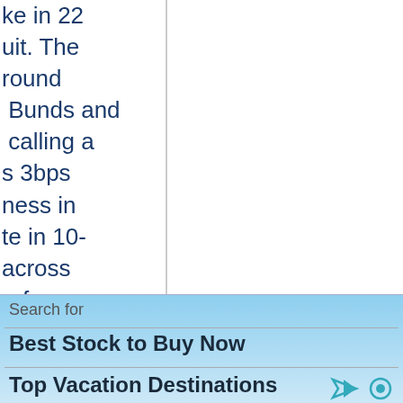ke in 22 uit. The round Bunds and calling a s 3bps ness in te in 10- across erforms the 5y widens a bank ears -- to what is WTI near n the red nd data.
Search for
Best Stock to Buy Now
Top Vacation Destinations